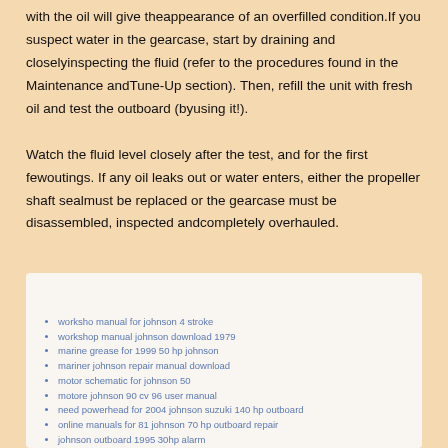with the oil will give theappearance of an overfilled condition. If you suspect water in the gearcase, start by draining and closelyinspecting the fluid (refer to the procedures found in the Maintenance andTune-Up section). Then, refill the unit with fresh oil and test the outboard (byusing it!).
Watch the fluid level closely after the test, and for the first fewoutings. If any oil leaks out or water enters, either the propeller shaft sealmust be replaced or the gearcase must be disassembled, inspected andcompletely overhauled.
worksho manual for johnson 4 stroke
workshop manual johnson download 1979
marine grease for 1999 50 hp johnson
mariner johnson repair manual download
motor schematic for johnson 50
motore johnson 90 cv 96 user manual
need powerhead for 2004 johnson suzuki 140 hp outboard
online manuals for 81 johnson 70 hp outboard repair
johnson outboard 1995 30hp alarm
johnson outboard 1999 4 hp model 4ree owners manual
johnson outboard 30 hp 2001 manual
johnson outboard 6hp manual 2000
johnson outboard cylinder head assembl... steps